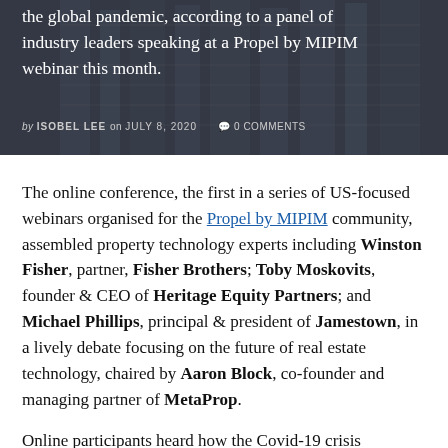[Figure (photo): Dark hero image of city buildings with white overlay text about the global pandemic and a Propel by MIPIM webinar, with byline 'by ISOBEL LEE on JULY 8, 2020  0 COMMENTS']
The online conference, the first in a series of US-focused webinars organised for the Propel by MIPIM community, assembled property technology experts including Winston Fisher, partner, Fisher Brothers; Toby Moskovits, founder & CEO of Heritage Equity Partners; and Michael Phillips, principal & president of Jamestown, in a lively debate focusing on the future of real estate technology, chaired by Aaron Block, co-founder and managing partner of MetaProp.
Online participants heard how the Covid-19 crisis